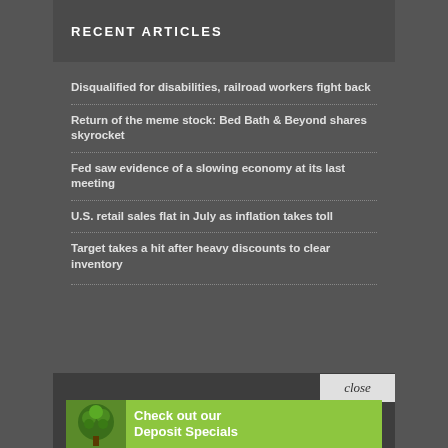RECENT ARTICLES
Disqualified for disabilities, railroad workers fight back
Return of the meme stock: Bed Bath & Beyond shares skyrocket
Fed saw evidence of a slowing economy at its last meeting
U.S. retail sales flat in July as inflation takes toll
Target takes a hit after heavy discounts to clear inventory
close
[Figure (infographic): Advertisement banner with tree logo and text 'Check out our Deposit Specials' on a green background]